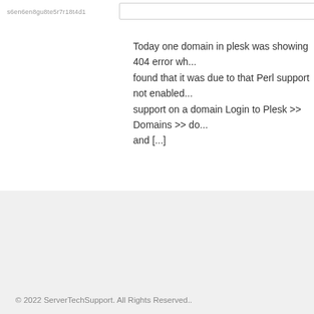s6en6en8gu8te5r7r18t4d1
Today one domain in plesk was showing 404 error wh... found that it was due to that Perl support not enabled... support on a domain Login to Plesk >> Domains >> do... and [...]
Server Management Services
Server Management
Outsourced Hosting Support
cPanel Server Management
Plesk Server Management
© 2022 ServerTechSupport. All Rights Reserved..